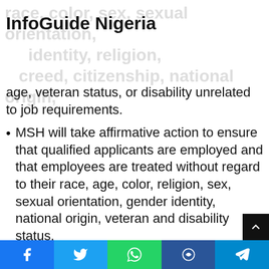InfoGuide Nigeria
race, color, sex, sexual orientation, identity, religion, creed, citizenship, national origin, age, veteran status, or disability unrelated to job requirements.
MSH will take affirmative action to ensure that qualified applicants are employed and that employees are treated without regard to their race, age, color, religion, sex, sexual orientation, gender identity, national origin, veteran and disability status.
4.) HR Partner
Location: Abuja
Facebook | Twitter | WhatsApp | Telegram